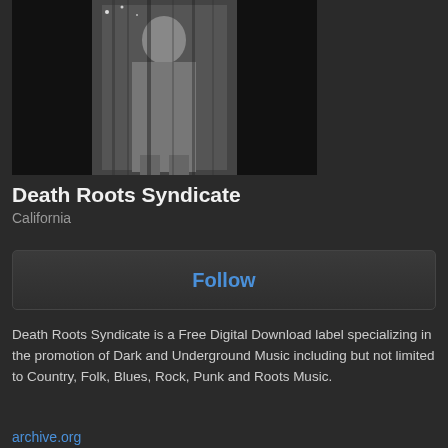[Figure (photo): Black and white photo of a performer on stage, high contrast grainy image]
Death Roots Syndicate
California
Follow
Death Roots Syndicate is a Free Digital Download label specializing in the promotion of Dark and Underground Music including but not limited to Country, Folk, Blues, Rock, Punk and Roots Music.
archive.org
Facebook
YouTube
Recommendations
discography
[Figure (photo): Small thumbnail album art image, black and white]
[Figure (photo): Small thumbnail album art image, black and white]